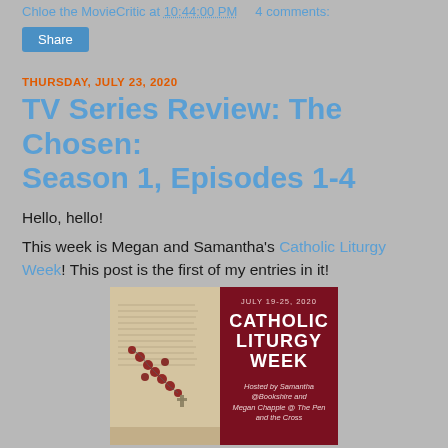Chloe the MovieCritic at 10:44:00 PM    4 comments:
Share
THURSDAY, JULY 23, 2020
TV Series Review: The Chosen: Season 1, Episodes 1-4
Hello, hello!
This week is Megan and Samantha's Catholic Liturgy Week! This post is the first of my entries in it!
[Figure (photo): Promotional banner for Catholic Liturgy Week July 19-25, 2020, showing an open book with a rosary on the left half, and dark red background on the right with text 'CATHOLIC LITURGY WEEK' hosted by Samantha @Bookshire and Megan Chapple @ The Pen and the Cross]